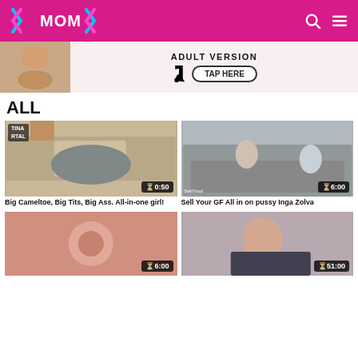XMOMX
[Figure (screenshot): Adult website ad banner with TikTok logo, text 'ADULT VERSION' and 'TAP HERE' button]
ALL
[Figure (screenshot): Video thumbnail showing woman in denim shorts, duration 0:50]
Big Cameltoe, Big Tits, Big Ass. All-in-one girl!
[Figure (screenshot): Video thumbnail showing people on sofa, duration 6:00, watermark SellYour]
Sell Your GF All in on pussy Inga Zolva
[Figure (screenshot): Video thumbnail close-up, duration 6:00]
[Figure (screenshot): Video thumbnail showing woman, duration 51:00]